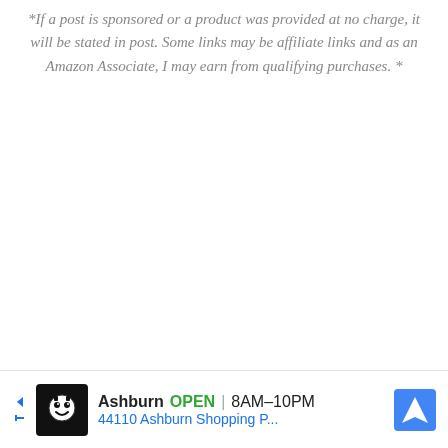*If a post is sponsored or a product was provided at no charge, it will be stated in post. Some links may be affiliate links and as an Amazon Associate, I may earn from qualifying purchases. *
[Figure (other): Advertisement banner for a local store: icon of a cartoon character face in black square, text 'Ashburn OPEN 8AM-10PM' with a blue navigation arrow icon, and '44110 Ashburn Shopping P...' in blue text below.]